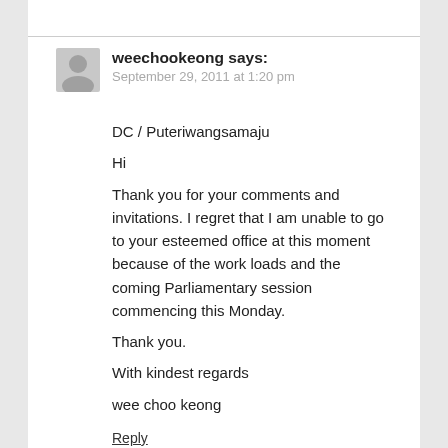[Figure (illustration): Grey silhouette avatar icon for commenter]
weechookeong says:
September 29, 2011 at 1:20 pm
DC / Puteriwangsamaju
Hi
Thank you for your comments and invitations. I regret that I am unable to go to your esteemed office at this moment because of the work loads and the coming Parliamentary session commencing this Monday.
Thank you.
With kindest regards
wee choo keong
Reply